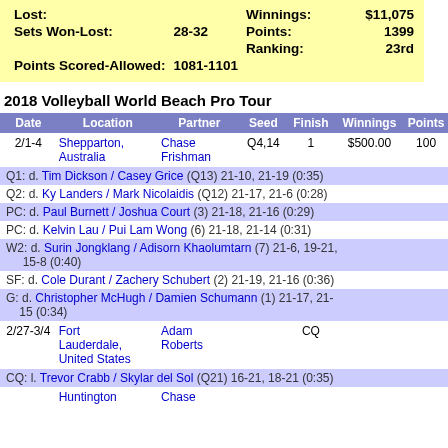| Lost: |  | Winnings: |  | $11,075 |
| Sets Won-Lost: | 28-32 | Points: |  | 1399 |
|  |  | Ranking: |  | 23rd |
| Points Scored-Allowed: | 1081-1101 |  |  |  |
2018 Volleyball World Beach Pro Tour
| Date | Location | Partner | Seed | Finish | Winnings | Points |
| --- | --- | --- | --- | --- | --- | --- |
| 2/1-4 | Shepparton, Australia | Chase Frishman | Q4,14 | 1 | $500.00 | 100 |
| Q1: | d. Tim Dickson / Casey Grice (Q13)  21-10, 21-19 (0:35) |  |  |  |  |  |
| Q2: | d. Ky Landers / Mark Nicolaidis (Q12)  21-17, 21-6(0:28) |  |  |  |  |  |
| PC: | d. Paul Burnett / Joshua Court (3)  21-18, 21-16 (0:29) |  |  |  |  |  |
| PC: | d. Kelvin Lau / Pui Lam Wong (6)  21-18, 21-14 (0:31) |  |  |  |  |  |
| W2: | d. Surin Jongklang / Adisorn Khaolumtarn (7)  21-6, 19-21, 15-8 (0:40) |  |  |  |  |  |
| SF: | d. Cole Durant / Zachery Schubert (2)  21-19, 21-16 (0:36) |  |  |  |  |  |
| G: | d. Christopher McHugh / Damien Schumann (1)  21-17, 21-15 (0:34) |  |  |  |  |  |
| 2/27-3/4 | Fort Lauderdale, United States | Adam Roberts |  | CQ |  |  |
| CQ: | l. Trevor Crabb / Skylar del Sol (Q21)  16-21, 18-21 (0:35) |  |  |  |  |  |
|  | Huntington ... | Chase ... |  |  |  |  |